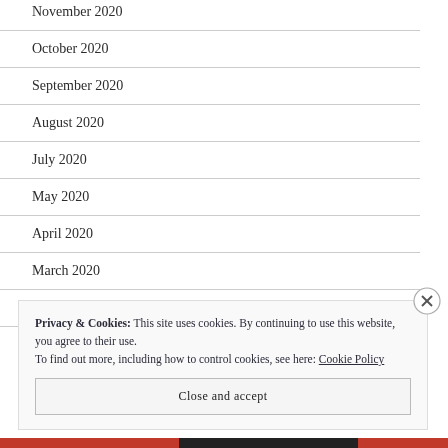November 2020
October 2020
September 2020
August 2020
July 2020
May 2020
April 2020
March 2020
February 2020
Privacy & Cookies: This site uses cookies. By continuing to use this website, you agree to their use.
To find out more, including how to control cookies, see here: Cookie Policy
Close and accept